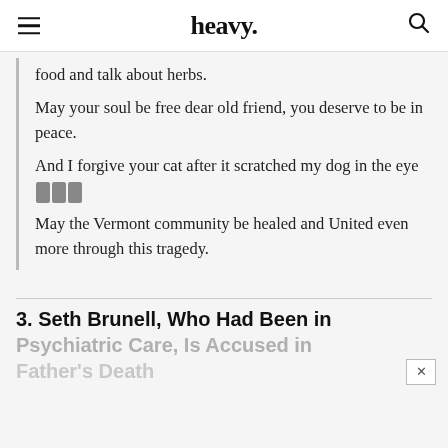heavy.
food and talk about herbs.
May your soul be free dear old friend, you deserve to be in peace.
And I forgive your cat after it scratched my dog in the eye [emoji]
May the Vermont community be healed and United even more through this tragedy.
3. Seth Brunell, Who Had Been in Psychiatric Care, Is Accused in Father's Death